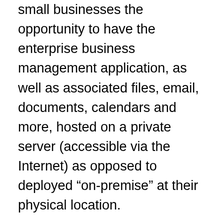small businesses the opportunity to have the enterprise business management application, as well as associated files, email, documents, calendars and more, hosted on a private server (accessible via the Internet) as opposed to deployed “on-premise” at their physical location.
With your SAP Business One system in the cloud, your staff will no longer worry about purchasing, setting-up and maintaining in-house servers; performing network and security updates, or installing software